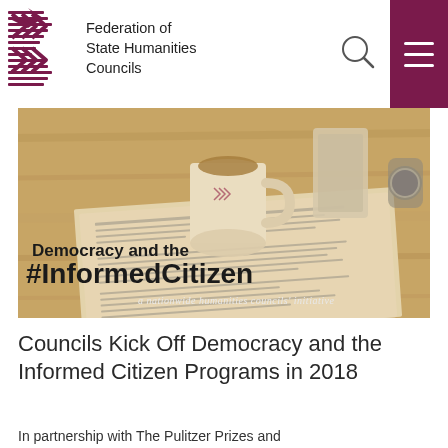Federation of State Humanities Councils
[Figure (photo): Sepia-toned photo of a newspaper open on a wooden table with a coffee mug bearing the Federation logo, a phone, and a watch. Overlaid text reads 'Democracy and the #InformedCitizen — a nationwide humanities councils' initiative'.]
Councils Kick Off Democracy and the Informed Citizen Programs in 2018
In partnership with The Pulitzer Prizes and